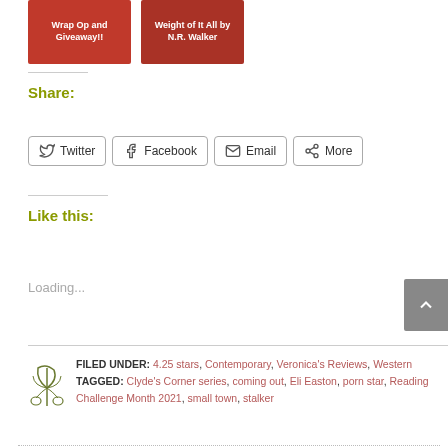[Figure (illustration): Two red thumbnail images: left says 'Wrap Op and Giveaway!!', right says 'Weight of It All by N.R. Walker']
Share:
Twitter  Facebook  Email  More
Like this:
Loading...
FILED UNDER: 4.25 stars, Contemporary, Veronica's Reviews, Western
TAGGED: Clyde's Corner series, coming out, Eli Easton, porn star, Reading Challenge Month 2021, small town, stalker